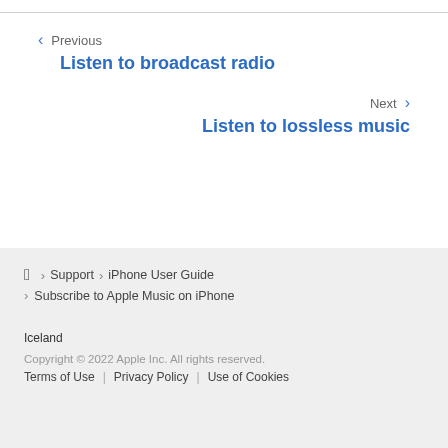< Previous
Listen to broadcast radio
Next >
Listen to lossless music
Apple logo > Support > iPhone User Guide > Subscribe to Apple Music on iPhone
Iceland
Copyright © 2022 Apple Inc. All rights reserved.
Terms of Use | Privacy Policy | Use of Cookies